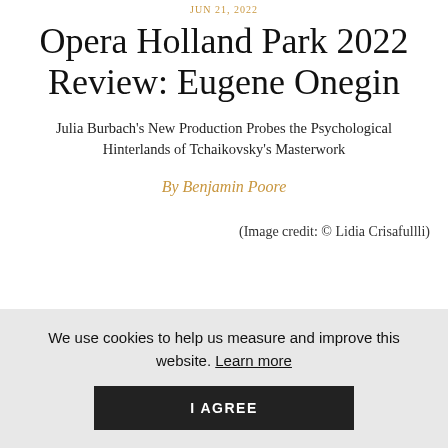JUN 21, 2022
Opera Holland Park 2022 Review: Eugene Onegin
Julia Burbach's New Production Probes the Psychological Hinterlands of Tchaikovsky's Masterwork
By Benjamin Poore
(Image credit: © Lidia Crisafulli)
We use cookies to help us measure and improve this website. Learn more
I AGREE